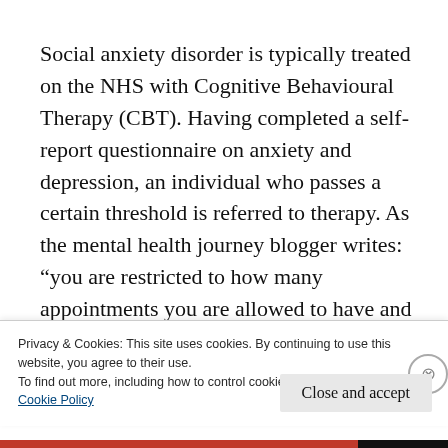Social anxiety disorder is typically treated on the NHS with Cognitive Behavioural Therapy (CBT). Having completed a self-report questionnaire on anxiety and depression, an individual who passes a certain threshold is referred to therapy. As the mental health journey blogger writes: “you are restricted to how many appointments you are allowed to have and the waiting list is huge. For some
Privacy & Cookies: This site uses cookies. By continuing to use this website, you agree to their use.
To find out more, including how to control cookies, see here:
Cookie Policy
Close and accept